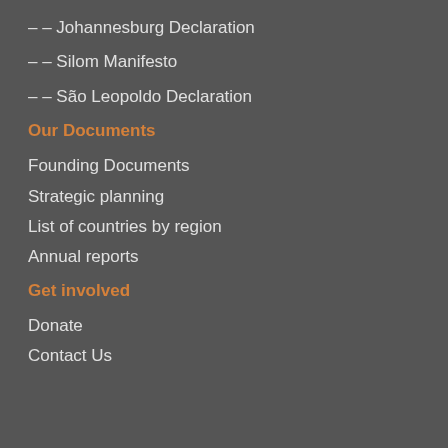– – Johannesburg Declaration
– – Silom Manifesto
– – São Leopoldo Declaration
Our Documents
Founding Documents
Strategic planning
List of countries by region
Annual reports
Get involved
Donate
Contact Us